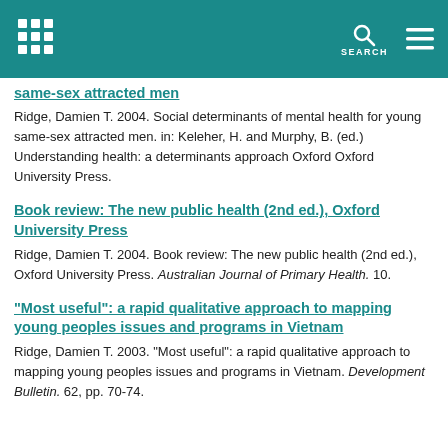same-sex attracted men
Ridge, Damien T. 2004. Social determinants of mental health for young same-sex attracted men. in: Keleher, H. and Murphy, B. (ed.) Understanding health: a determinants approach Oxford Oxford University Press.
Book review: The new public health (2nd ed.), Oxford University Press
Ridge, Damien T. 2004. Book review: The new public health (2nd ed.), Oxford University Press. Australian Journal of Primary Health. 10.
"Most useful": a rapid qualitative approach to mapping young peoples issues and programs in Vietnam
Ridge, Damien T. 2003. "Most useful": a rapid qualitative approach to mapping young peoples issues and programs in Vietnam. Development Bulletin. 62, pp. 70-74.